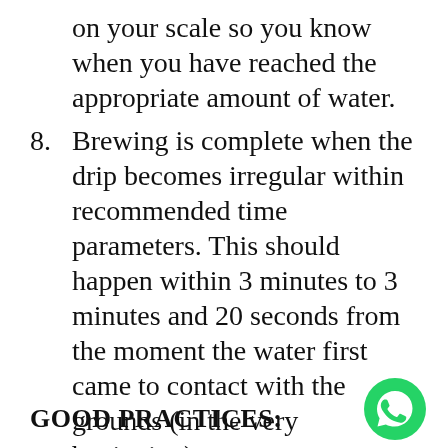on your scale so you know when you have reached the appropriate amount of water.
8. Brewing is complete when the drip becomes irregular within recommended time parameters. This should happen within 3 minutes to 3 minutes and 20 seconds from the moment the water first came to contact with the grounds (in the very beginning).
GOOD PRACTICES:
[Figure (logo): WhatsApp logo — green circle with white phone handset icon]